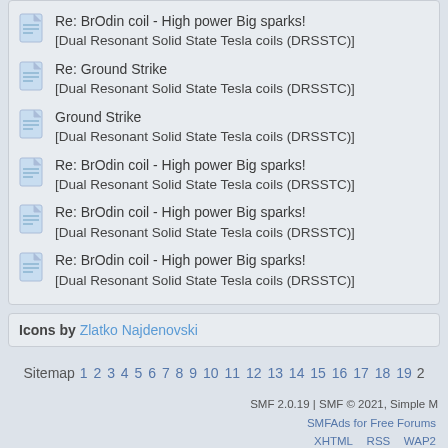Re: BrOdin coil - High power Big sparks!
[Dual Resonant Solid State Tesla coils (DRSSTC)]
Re: Ground Strike
[Dual Resonant Solid State Tesla coils (DRSSTC)]
Ground Strike
[Dual Resonant Solid State Tesla coils (DRSSTC)]
Re: BrOdin coil - High power Big sparks!
[Dual Resonant Solid State Tesla coils (DRSSTC)]
Re: BrOdin coil - High power Big sparks!
[Dual Resonant Solid State Tesla coils (DRSSTC)]
Re: BrOdin coil - High power Big sparks!
[Dual Resonant Solid State Tesla coils (DRSSTC)]
Icons by Zlatko Najdenovski
Sitemap 1 2 3 4 5 6 7 8 9 10 11 12 13 14 15 16 17 18 19 2
SMF 2.0.19 | SMF © 2021, Simple M
SMFAds for Free Forums
XHTML   RSS   WAP2
SimplePortal 2.3.6 © 2008-2014, Simple